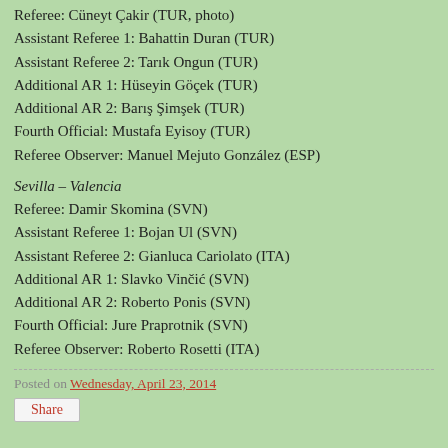Referee: Cüneyt Çakir (TUR, photo)
Assistant Referee 1: Bahattin Duran (TUR)
Assistant Referee 2: Tarık Ongun (TUR)
Additional AR 1: Hüseyin Göçek (TUR)
Additional AR 2: Barış Şimşek (TUR)
Fourth Official: Mustafa Eyisoy (TUR)
Referee Observer: Manuel Mejuto González (ESP)
Sevilla – Valencia
Referee: Damir Skomina (SVN)
Assistant Referee 1: Bojan Ul (SVN)
Assistant Referee 2: Gianluca Cariolato (ITA)
Additional AR 1: Slavko Vinčić (SVN)
Additional AR 2: Roberto Ponis (SVN)
Fourth Official: Jure Praprotnik (SVN)
Referee Observer: Roberto Rosetti (ITA)
Posted on Wednesday, April 23, 2014
Share